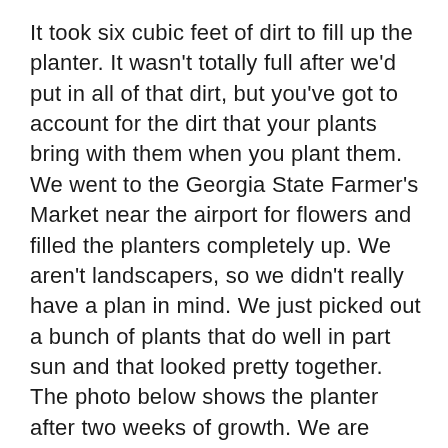It took six cubic feet of dirt to fill up the planter. It wasn't totally full after we'd put in all of that dirt, but you've got to account for the dirt that your plants bring with them when you plant them. We went to the Georgia State Farmer's Market near the airport for flowers and filled the planters completely up. We aren't landscapers, so we didn't really have a plan in mind. We just picked out a bunch of plants that do well in part sun and that looked pretty together. The photo below shows the planter after two weeks of growth. We are planning to paint the planter to match the house or foundation with grey siding boards and red cap rails. We'll get those photos posted as soon as we paint. Let us know if you have any questions by leaving a comment below, emailing us at oldhousecrazy@gmail.com, or commenting on our facebook page. Thanks for reading. - Bobby